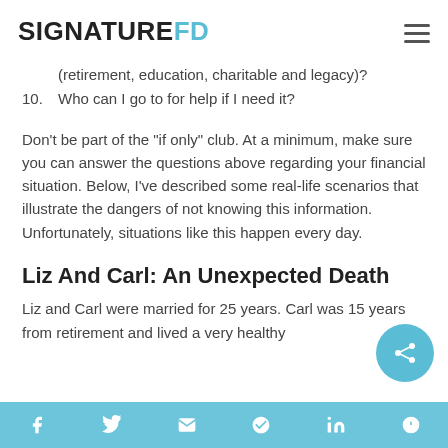SIGNATURE FD
(retirement, education, charitable and legacy)?
10. Who can I go to for help if I need it?
Don’t be part of the “if only” club. At a minimum, make sure you can answer the questions above regarding your financial situation. Below, I’ve described some real-life scenarios that illustrate the dangers of not knowing this information. Unfortunately, situations like this happen every day.
Liz And Carl: An Unexpected Death
Liz and Carl were married for 25 years. Carl was 15 years from retirement and lived a very healthy